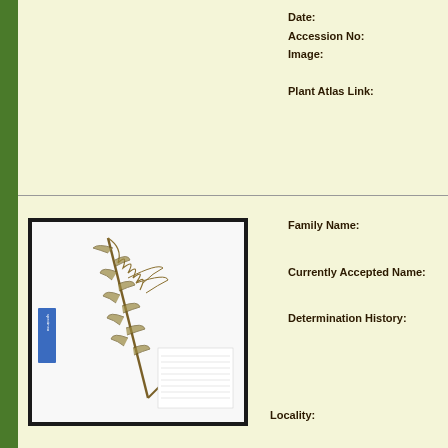Date:
Accession No:
Image:
Plant Atlas Link:
[Figure (photo): Herbarium specimen of a plant with elongated leafy stem and small clustered flowers, mounted on white background with a blue label on the left side and handwritten/printed collection data label at the bottom right.]
Family Name:
Currently Accepted Name:
Determination History:
Locality: